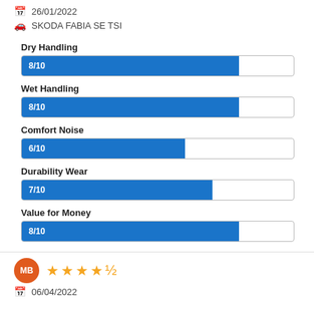26/01/2022
SKODA FABIA SE TSI
[Figure (bar-chart): Ratings]
MB
06/04/2022